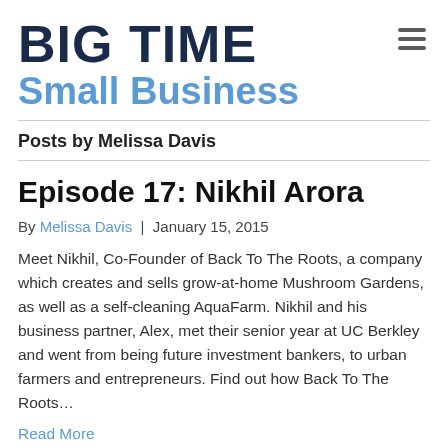BIG TIME Small Business
Posts by Melissa Davis
Episode 17: Nikhil Arora
By Melissa Davis | January 15, 2015
Meet Nikhil, Co-Founder of Back To The Roots, a company which creates and sells grow-at-home Mushroom Gardens, as well as a self-cleaning AquaFarm. Nikhil and his business partner, Alex, met their senior year at UC Berkley and went from being future investment bankers, to urban farmers and entrepreneurs. Find out how Back To The Roots…
Read More